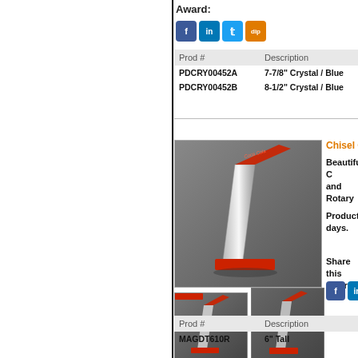Award:
[Figure (other): Social media share icons: Facebook, LinkedIn, Twitter, Dipict]
| Prod # | Description |
| --- | --- |
| PDCRY00452A | 7-7/8" Crystal / Blue |
| PDCRY00452B | 8-1/2" Crystal / Blue |
[Figure (photo): Crystal award with red diagonal top element and red base - main large product photo]
[Figure (photo): Crystal award thumbnail 1 - smaller angle view]
[Figure (photo): Crystal award thumbnail 2 - smaller front view]
Chisel Carve T
Beautiful C and Rotary
Production days.
Share this Award:
[Figure (other): Social media share icons: Facebook, LinkedIn, Twitter, Dipict]
| Prod # | Description |
| --- | --- |
| MAGDT610R | 6" Tall |